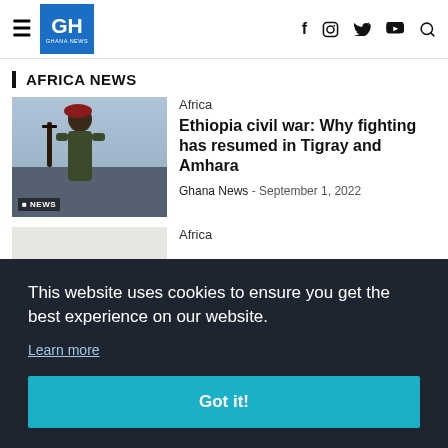GH GHANA NEWS — navigation with hamburger menu, social icons (f, instagram, twitter, youtube, search)
AFRICA NEWS
[Figure (photo): Soldier in military uniform wearing a red beret, carrying a rifle, standing in formation. BBC NEWS badge visible.]
Africa
Ethiopia civil war: Why fighting has resumed in Tigray and Amhara
Ghana News - September 1, 2022
[Figure (photo): Partially visible second article image (light beige/grey placeholder)]
Africa
This website uses cookies to ensure you get the best experience on our website. Learn more
Got it!